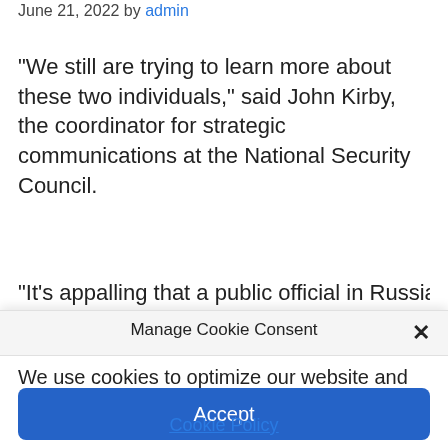June 21, 2022 by admin
“We still are trying to learn more about these two individuals,” said John Kirby, the coordinator for strategic communications at the National Security Council.
“It’s appalling that a public official in Russia
Manage Cookie Consent
We use cookies to optimize our website and our service.
Accept
Cookie Policy